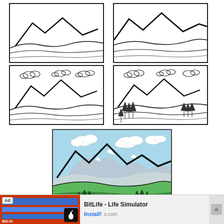[Figure (illustration): Step-by-step tutorial showing how to draw mountains. Top-left box: basic mountain outline with two peaks and rolling hills in foreground, black line art on white. Top-right box: similar mountain outline, slightly cropped/zoomed. Middle-left box: mountains with clouds added above peaks. Middle-right box: mountains with clouds and trees added in foreground. Bottom center (larger, colored): completed colored mountain scene with blue sky, snow-capped peaks, green hills, pine trees, and clouds.]
[Figure (infographic): Advertisement bar at bottom: BitLife - Life Simulator app ad with red background image block on left showing app screenshots, 'Ad' label, app icon (sperm cell on black), title 'BitLife - Life Simulator', and 'Install!' button link on right. Partial domain text '.com' visible.]